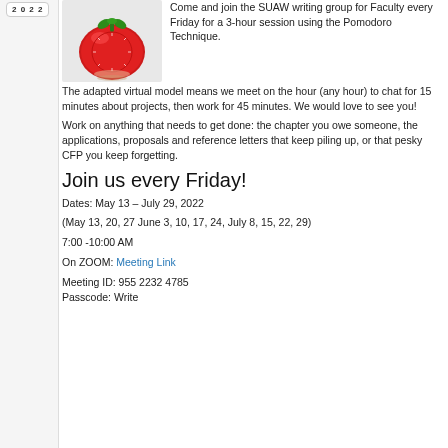2022
[Figure (photo): A red tomato-shaped kitchen timer (Pomodoro timer) on a light gray background.]
Come and join the SUAW writing group for Faculty every Friday for a 3-hour session using the Pomodoro Technique.
The adapted virtual model means we meet on the hour (any hour) to chat for 15 minutes about projects, then work for 45 minutes. We would love to see you!
Work on anything that needs to get done: the chapter you owe someone, the applications, proposals and reference letters that keep piling up, or that pesky CFP you keep forgetting.
Join us every Friday!
Dates: May 13 – July 29, 2022
(May 13, 20, 27 June 3, 10, 17, 24, July 8, 15, 22, 29)
7:00 -10:00 AM
On ZOOM: Meeting Link
Meeting ID: 955 2232 4785
Passcode: Write